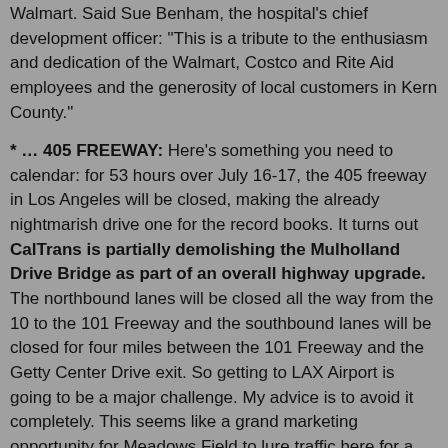Walmart. Said Sue Benham, the hospital's chief development officer: "This is a tribute to the enthusiasm and dedication of the Walmart, Costco and Rite Aid employees and the generosity of local customers in Kern County."
* ... 405 FREEWAY: Here's something you need to calendar: for 53 hours over July 16-17, the 405 freeway in Los Angeles will be closed, making the already nightmarish drive one for the record books. It turns out CalTrans is partially demolishing the Mulholland Drive Bridge as part of an overall highway upgrade. The northbound lanes will be closed all the way from the 10 to the 101 Freeway and the southbound lanes will be closed for four miles between the 101 Freeway and the Getty Center Drive exit. So getting to LAX Airport is going to be a major challenge. My advice is to avoid it completely. This seems like a grand marketing opportunity for Meadows Field to lure traffic here for a few days.
[Figure (photo): Aerial or overhead view of a heavily congested Los Angeles freeway (405), showing dense traffic with a green freeway sign visible in the lower center area of the image.]